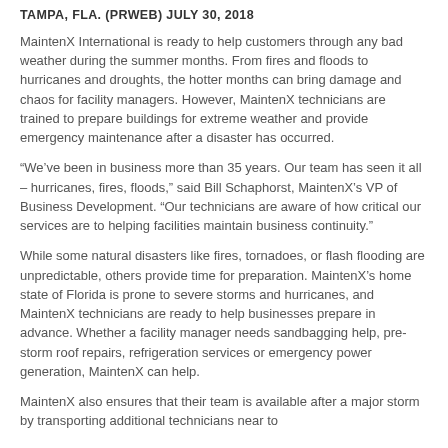TAMPA, FLA. (PRWEB) JULY 30, 2018
MaintenX International is ready to help customers through any bad weather during the summer months. From fires and floods to hurricanes and droughts, the hotter months can bring damage and chaos for facility managers. However, MaintenX technicians are trained to prepare buildings for extreme weather and provide emergency maintenance after a disaster has occurred.
“We’ve been in business more than 35 years. Our team has seen it all – hurricanes, fires, floods,” said Bill Schaphorst, MaintenX’s VP of Business Development. “Our technicians are aware of how critical our services are to helping facilities maintain business continuity.”
While some natural disasters like fires, tornadoes, or flash flooding are unpredictable, others provide time for preparation. MaintenX’s home state of Florida is prone to severe storms and hurricanes, and MaintenX technicians are ready to help businesses prepare in advance. Whether a facility manager needs sandbagging help, pre-storm roof repairs, refrigeration services or emergency power generation, MaintenX can help.
MaintenX also ensures that their team is available after a major storm by transporting additional technicians near to